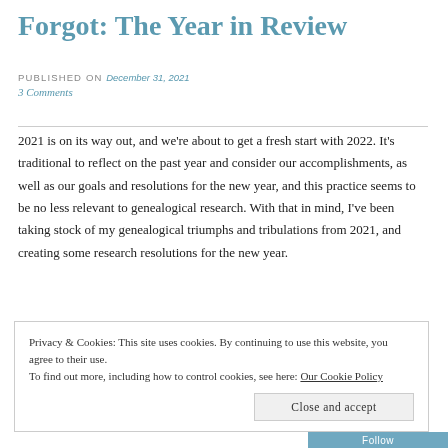Forgot: The Year in Review
PUBLISHED ON December 31, 2021
3 Comments
2021 is on its way out, and we're about to get a fresh start with 2022. It's traditional to reflect on the past year and consider our accomplishments, as well as our goals and resolutions for the new year, and this practice seems to be no less relevant to genealogical research. With that in mind, I've been taking stock of my genealogical triumphs and tribulations from 2021, and creating some research resolutions for the new year.
Privacy & Cookies: This site uses cookies. By continuing to use this website, you agree to their use. To find out more, including how to control cookies, see here: Our Cookie Policy
Close and accept